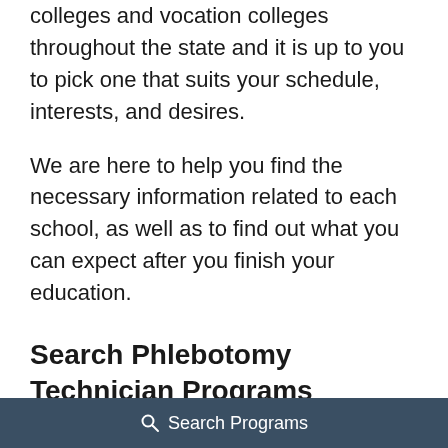colleges and vocation colleges throughout the state and it is up to you to pick one that suits your schedule, interests, and desires.
We are here to help you find the necessary information related to each school, as well as to find out what you can expect after you finish your education.
Search Phlebotomy Technician Programs
Get information on Phlebotomy Technician programs by entering your zip code and request
Search Programs